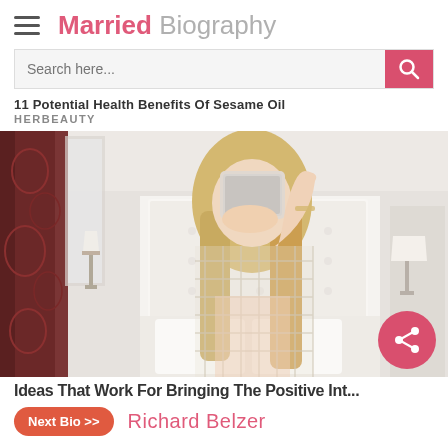Married Biography
Search here...
11 Potential Health Benefits Of Sesame Oil
HERBEAUTY
[Figure (photo): A young blonde woman taking a selfie in a mirror wearing a white crochet/net top, standing in a hotel room with a white tufted headboard bed, dark curtains on left, two bedside lamps, and white pillows visible.]
Ideas That Work For Bringing The Positive Int...
Next Bio >>  Richard Belzer